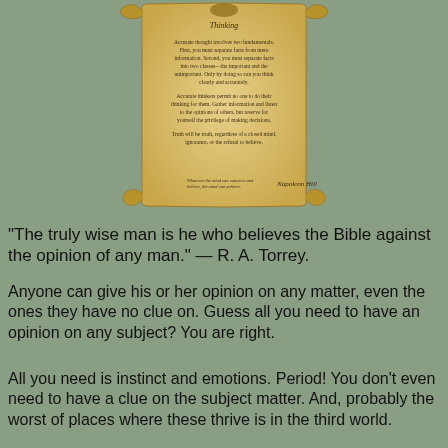[Figure (illustration): Aged parchment scroll with text about accurate thinking, signed by Napoleon Hill. Title reads 'Thinking'. Contains three paragraphs about accurate thought, separating facts, and truth.]
"The truly wise man is he who believes the Bible against the opinion of any man." — R. A. Torrey.
Anyone can give his or her opinion on any matter, even the ones they have no clue on. Guess all you need to have an opinion on any subject? You are right.
All you need is instinct and emotions. Period! You don't even need to have a clue on the subject matter. And, probably the worst of places where these thrive is in the third world.